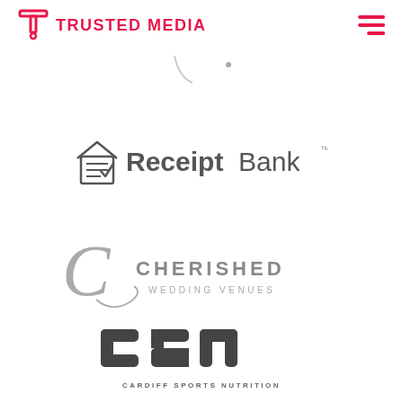TRUSTED MEDIA
[Figure (logo): ReceiptBank logo with house-receipt icon and text 'ReceiptBank' in bold/regular grey]
[Figure (logo): Cherished Wedding Venues logo with large serif C and script flourish]
[Figure (logo): CSN Cardiff Sports Nutrition logo with block letter shapes]